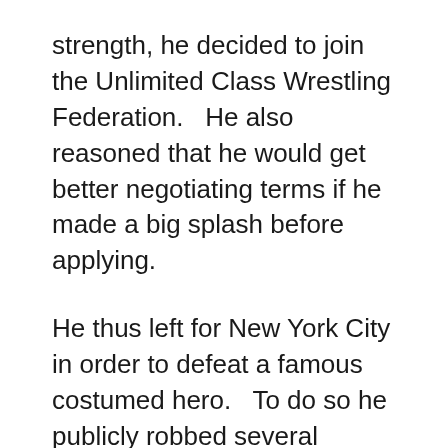strength, he decided to join the Unlimited Class Wrestling Federation.   He also reasoned that he would get better negotiating terms if he made a big splash before applying.
He thus left for New York City in order to defeat a famous costumed hero.   To do so he publicly robbed several jewellery stores, though the loot wasn't the point.
The first person who responded was Ladyhawk, an unpowered acrobat who couldn't hope to harm him.   Disappointed